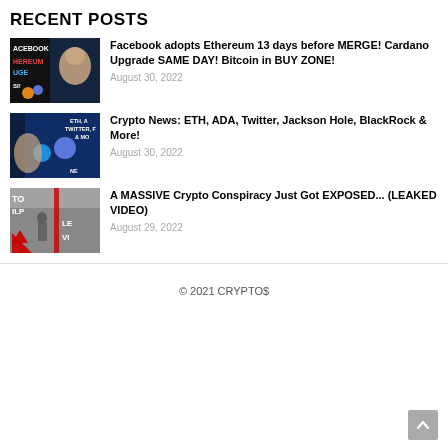RECENT POSTS
[Figure (photo): Thumbnail image with Facebook, Ethereum, MERGE text on dark background with person's face]
Facebook adopts Ethereum 13 days before MERGE! Cardano Upgrade SAME DAY! Bitcoin in BUY ZONE!
August 30, 2022
[Figure (photo): Thumbnail showing ETH, ADA, Twitter, BlackRock crypto news with person on blue background]
Crypto News: ETH, ADA, Twitter, Jackson Hole, BlackRock & More!
August 30, 2022
[Figure (photo): Thumbnail showing leaked video with red elements and person in suit]
A MASSIVE Crypto Conspiracy Just Got EXPOSED... (LEAKED VIDEO)
August 29, 2022
© 2021 CRYPTO$